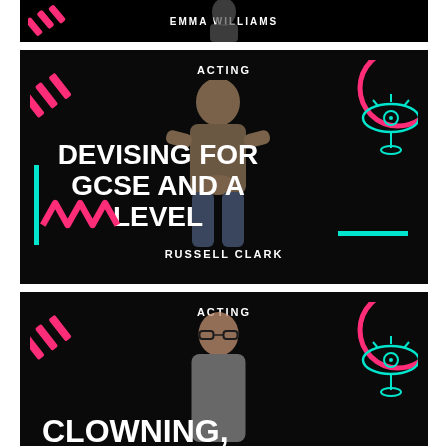[Figure (photo): Acting course thumbnail showing EMMA WILLIAMS text at top on dark background with pink decorative elements]
[Figure (photo): Acting course thumbnail - DEVISING FOR GCSE AND A LEVEL by RUSSELL CLARK, dark background with person standing, pink and teal decorative elements, eye graphic]
[Figure (photo): Acting course thumbnail - CLOWNING, partially visible, dark background with woman presenter, pink and teal decorative elements]